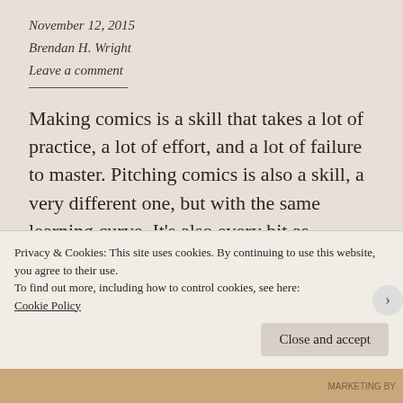November 12, 2015
Brendan H. Wright
Leave a comment
Making comics is a skill that takes a lot of practice, a lot of effort, and a lot of failure to master. Pitching comics is also a skill, a very different one, but with the same learning curve. It's also every bit as important, because the single best thing a project can have going for it is a publisher's confidence that it will sell, and
Privacy & Cookies: This site uses cookies. By continuing to use this website, you agree to their use.
To find out more, including how to control cookies, see here:
Cookie Policy
Close and accept